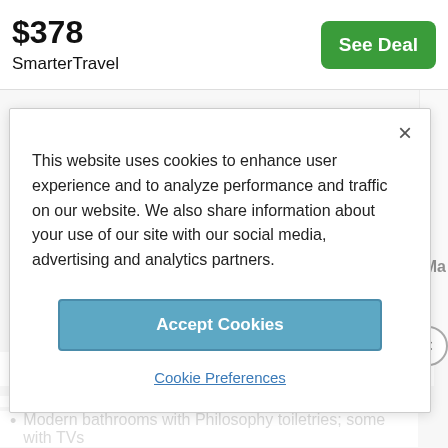$378
SmarterTravel
See Deal
×
This website uses cookies to enhance user experience and to analyze performance and traffic on our website. We also share information about your use of our site with our social media, advertising and analytics partners.
Accept Cookies
Cookie Preferences
and comfy Sterns & Fosters beds
ADVERTISEMENT
Modern bathrooms with Philosophy toiletries; some with TVs
Free continental breakfast buffet